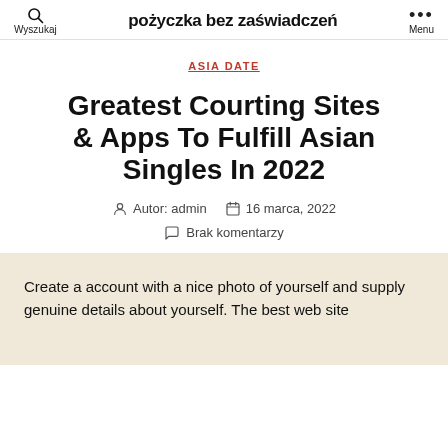pożyczka bez zaświadczeń | Wyszukaj | Menu
ASIA DATE
Greatest Courting Sites & Apps To Fulfill Asian Singles In 2022
Autor: admin   16 marca, 2022
Brak komentarzy
Create a account with a nice photo of yourself and supply genuine details about yourself. The best web site